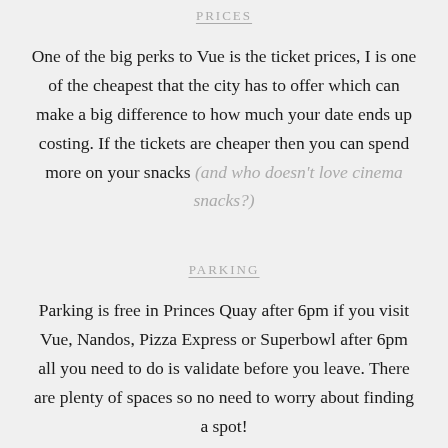PRICES
One of the big perks to Vue is the ticket prices, I is one of the cheapest that the city has to offer which can make a big difference to how much your date ends up costing. If the tickets are cheaper then you can spend more on your snacks (and who doesn't love cinema snacks?)
PARKING
Parking is free in Princes Quay after 6pm if you visit Vue, Nandos, Pizza Express or Superbowl after 6pm all you need to do is validate before you leave. There are plenty of spaces so no need to worry about finding a spot!